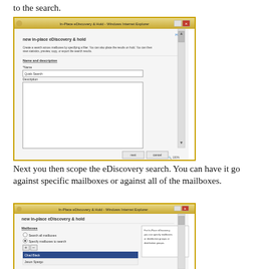to the search.
[Figure (screenshot): In-Place eDiscovery & Hold - Windows Internet Explorer dialog showing 'New in-place eDiscovery & hold' wizard with Name and description section. Name field contains 'Quick Search'. Description text area is empty. Next and cancel buttons at bottom.]
Next you then scope the eDiscovery search. You can have it go against specific mailboxes or against all of the mailboxes.
[Figure (screenshot): In-Place eDiscovery & Hold - Windows Internet Explorer dialog showing 'New in-place eDiscovery & hold' wizard with Mailboxes section. Options: 'Search all mailboxes' and 'Specify mailboxes to search' (selected). Add/remove buttons shown. 'Chad Black' is listed. A callout tooltip appears on the right describing for In-Place eDiscovery, you can specify mailboxes or distribution groups or distribution groups.]